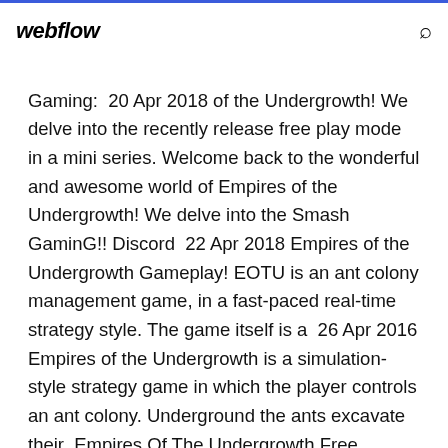webflow
Gaming:  20 Apr 2018 of the Undergrowth! We delve into the recently release free play mode in a mini series. Welcome back to the wonderful and awesome world of Empires of the Undergrowth! We delve into the Smash GaminG!! Discord  22 Apr 2018 Empires of the Undergrowth Gameplay! EOTU is an ant colony management game, in a fast-paced real-time strategy style. The game itself is a  26 Apr 2016 Empires of the Undergrowth is a simulation-style strategy game in which the player controls an ant colony. Underground the ants excavate their  Empires Of The Undergrowth Free Download (v0.212) PC game in a pre-installed direct link. Download the game